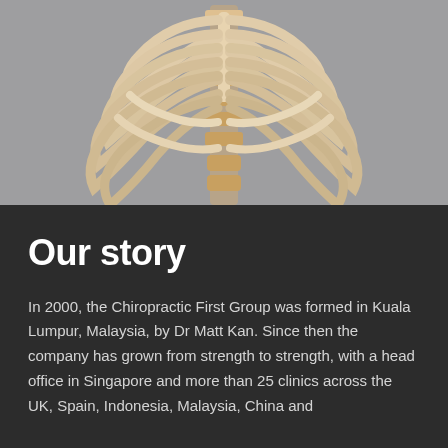[Figure (photo): Photograph of a human rib cage and spine anatomical model against a grey background, showing bones from the front view with the sternum, ribs, and lumbar vertebrae visible.]
Our story
In 2000, the Chiropractic First Group was formed in Kuala Lumpur, Malaysia, by Dr Matt Kan. Since then the company has grown from strength to strength, with a head office in Singapore and more than 25 clinics across the UK, Spain, Indonesia, Malaysia, China and